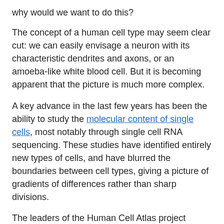why would we want to do this?
The concept of a human cell type may seem clear cut: we can easily envisage a neuron with its characteristic dendrites and axons, or an amoeba-like white blood cell. But it is becoming apparent that the picture is much more complex.
A key advance in the last few years has been the ability to study the molecular content of single cells, most notably through single cell RNA sequencing. These studies have identified entirely new types of cells, and have blurred the boundaries between cell types, giving a picture of gradients of differences rather than sharp divisions.
The leaders of the Human Cell Atlas project believe that using single cell technologies to make a comprehensive map of cell types at high resolution is needed for a full understanding of how a b t b h f b t ll b l F